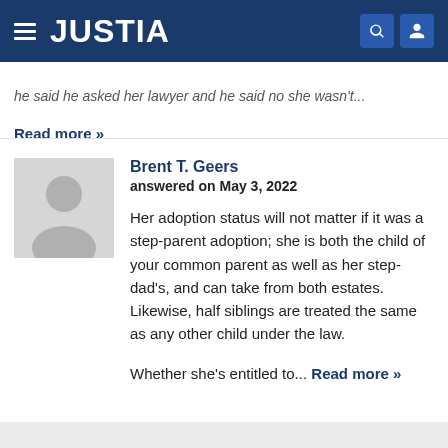JUSTIA
he said he asked her lawyer and he said no she wasn't...
Read more »
Brent T. Geers
answered on May 3, 2022

Her adoption status will not matter if it was a step-parent adoption; she is both the child of your common parent as well as her step-dad's, and can take from both estates. Likewise, half siblings are treated the same as any other child under the law.

Whether she's entitled to... Read more »